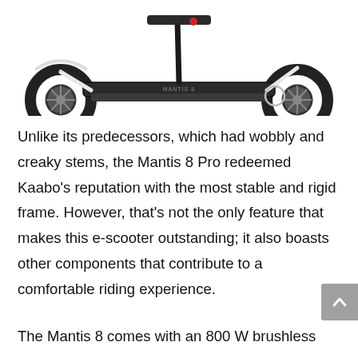[Figure (photo): Electric scooter (Kaabo Mantis 8 Pro) photographed from the side showing two large wheels, white frame, and folded handlebar stem against a white background.]
Unlike its predecessors, which had wobbly and creaky stems, the Mantis 8 Pro redeemed Kaabo's reputation with the most stable and rigid frame. However, that's not the only feature that makes this e-scooter outstanding; it also boasts other components that contribute to a comfortable riding experience.
The Mantis 8 comes with an 800 W brushless